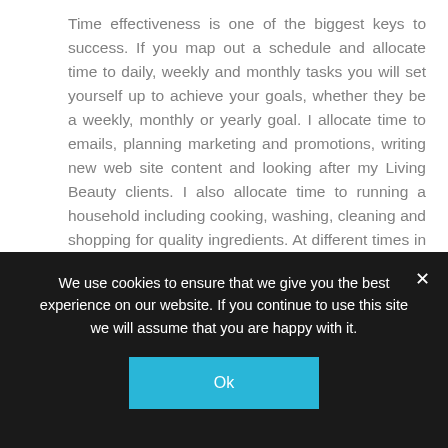Time effectiveness is one of the biggest keys to success. If you map out a schedule and allocate time to daily, weekly and monthly tasks you will set yourself up to achieve your goals, whether they be a weekly, monthly or yearly goal. I allocate time to emails, planning marketing and promotions, writing new web site content and looking after my Living Beauty clients. I also allocate time to running a household including cooking, washing, cleaning and shopping for quality ingredients. At different times in the year where I am very busy, I need to change my training schedule accordingly and therefore adjust my nutrition. You cannot do everything at once, you must prioritise.
Final Success Tips
We use cookies to ensure that we give you the best experience on our website. If you continue to use this site we will assume that you are happy with it.